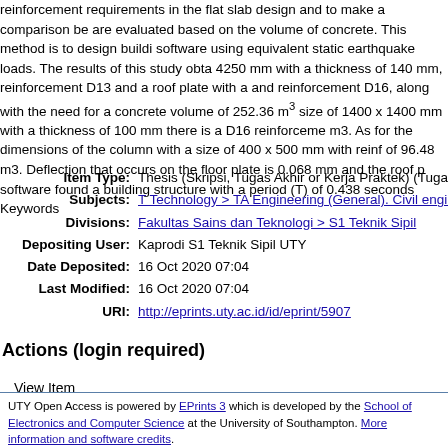reinforcement requirements in the flat slab design and to make a comparison be are evaluated based on the volume of concrete. This method is to design buildi software using equivalent static earthquake loads. The results of this study obta 4250 mm with a thickness of 140 mm, reinforcement D13 and a roof plate with a and reinforcement D16, along with the need for a concrete volume of 252.36 m size of 1400 x 1400 mm with a thickness of 100 mm there is a D16 reinforceme m3. As for the dimensions of the column with a size of 400 x 500 mm with reinf of 96.48 m3. Deflection that occurs on the floor plate is 0.068 mm and the roof p software found a building structure with a period (T) of 0.438 seconds Keywords
| Item Type: | Thesis (Skripsi, Tugas Akhir or Kerja Praktek) (Tugas Akhir |
| Subjects: | T Technology > TA Engineering (General). Civil engineering |
| Divisions: | Fakultas Sains dan Teknologi > S1 Teknik Sipil |
| Depositing User: | Kaprodi S1 Teknik Sipil UTY |
| Date Deposited: | 16 Oct 2020 07:04 |
| Last Modified: | 16 Oct 2020 07:04 |
| URI: | http://eprints.uty.ac.id/id/eprint/5907 |
Actions (login required)
View Item
UTY Open Access is powered by EPrints 3 which is developed by the School of Electronics and Computer Science at the University of Southampton. More information and software credits.